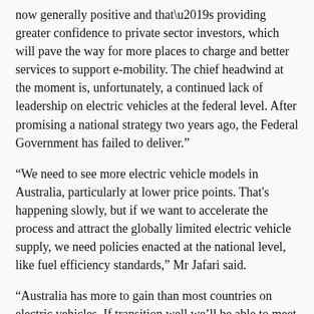now generally positive and that’s providing greater confidence to private sector investors, which will pave the way for more places to charge and better services to support e-mobility. The chief headwind at the moment is, unfortunately, a continued lack of leadership on electric vehicles at the federal level. After promising a national strategy two years ago, the Federal Government has failed to deliver.”
“We need to see more electric vehicle models in Australia, particularly at lower price points. That's happening slowly, but if we want to accelerate the process and attract the globally limited electric vehicle supply, we need policies enacted at the national level, like fuel efficiency standards,” Mr Jafari said.
“Australia has more to gain than most countries on electric vehicles. If transition well we’ll be able to meet our net-zero goals, break our dependency of foreign oil, and improve our air quality.”
Related Articles